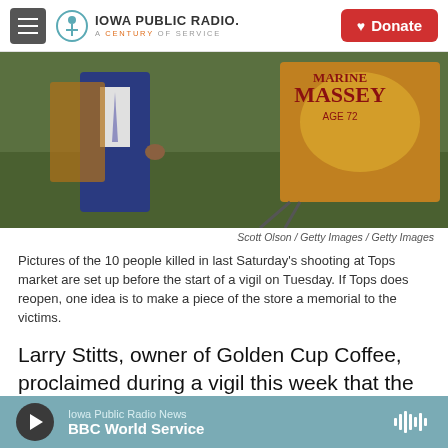Iowa Public Radio. A Century of Service | Donate
[Figure (photo): A person in a blue suit and striped tie stands next to an easel with a poster showing 'MASSEY AGE 72' with a golden/orange background, at an outdoor vigil on grass.]
Scott Olson / Getty Images / Getty Images
Pictures of the 10 people killed in last Saturday's shooting at Tops market are set up before the start of a vigil on Tuesday. If Tops does reopen, one idea is to make a piece of the store a memorial to the victims.
Larry Stitts, owner of Golden Cup Coffee, proclaimed during a vigil this week that the Tops will reopen.
"We're not gonna let Jefferson die. We're gonna
Iowa Public Radio News | BBC World Service